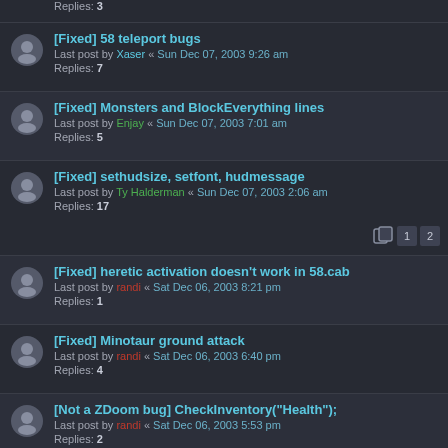Replies: 3
[Fixed] 58 teleport bugs | Last post by Xaser « Sun Dec 07, 2003 9:26 am | Replies: 7
[Fixed] Monsters and BlockEverything lines | Last post by Enjay « Sun Dec 07, 2003 7:01 am | Replies: 5
[Fixed] sethudsize, setfont, hudmessage | Last post by Ty Halderman « Sun Dec 07, 2003 2:06 am | Replies: 17 | Pages: 1 2
[Fixed] heretic activation doesn't work in 58.cab | Last post by randi « Sat Dec 06, 2003 8:21 pm | Replies: 1
[Fixed] Minotaur ground attack | Last post by randi « Sat Dec 06, 2003 6:40 pm | Replies: 4
[Not a ZDoom bug] CheckInventory("Health"); | Last post by randi « Sat Dec 06, 2003 5:53 pm | Replies: 2
[Fixed] Small Boom incompatabilities | Last post by Cyb « Sat Dec 06, 2003 1:18 pm | Replies: 22 | Pages: 1 2
[Fixed] Screen border flash | Last post by Ric Harmon « Sat Dec 06, 2003 11:18 am